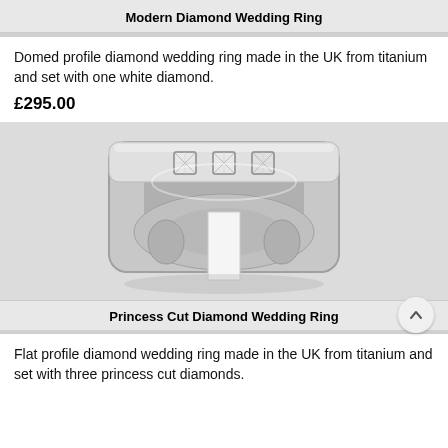Modern Diamond Wedding Ring
Domed profile diamond wedding ring made in the UK from titanium and set with one white diamond.
£295.00
[Figure (photo): Titanium wedding ring with princess cut diamonds set on top, viewed from above on a grey background.]
Princess Cut Diamond Wedding Ring
Flat profile diamond wedding ring made in the UK from titanium and set with three princess cut diamonds.